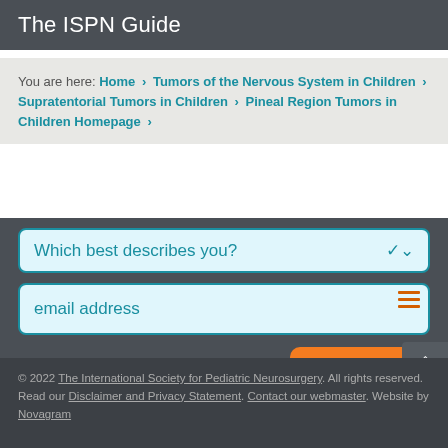The ISPN Guide
You are here: Home > Tumors of the Nervous System in Children > Supratentorial Tumors in Children > Pineal Region Tumors in Children Homepage >
Which best describes you?
email address
We won't share your information with anyone else and we'll never send spam.
Subscribe
© 2022 The International Society for Pediatric Neurosurgery. All rights reserved. Read our Disclaimer and Privacy Statement. Contact our webmaster. Website by Novagram